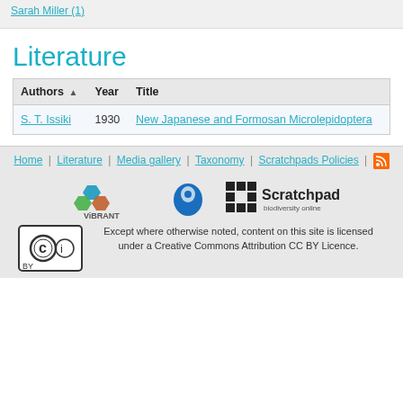Sarah Miller (1)
Literature
| Authors ▲ | Year | Title |
| --- | --- | --- |
| S. T. Issiki | 1930 | New Japanese and Formosan Microlepidoptera |
Home | Literature | Media gallery | Taxonomy | Scratchpads Policies | [RSS]
[Figure (logo): ViBRANT Virtual Biodiversity logo, Drupal logo, Scratchpads biodiversity online logo]
Except where otherwise noted, content on this site is licensed under a Creative Commons Attribution CC BY Licence.